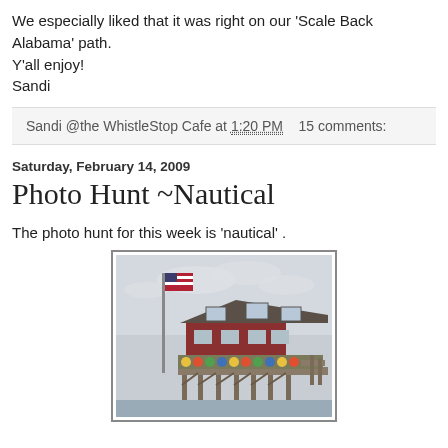We especially liked that it was right on our 'Scale Back Alabama' path.
Y'all enjoy!
Sandi
Sandi @the WhistleStop Cafe at 1:20 PM    15 comments:
Saturday, February 14, 2009
Photo Hunt ~Nautical
The photo hunt for this week is 'nautical' .
[Figure (photo): A coastal building on stilts with colorful buoys decorating the exterior, an American flag on a pole to the left, overcast sky in background.]